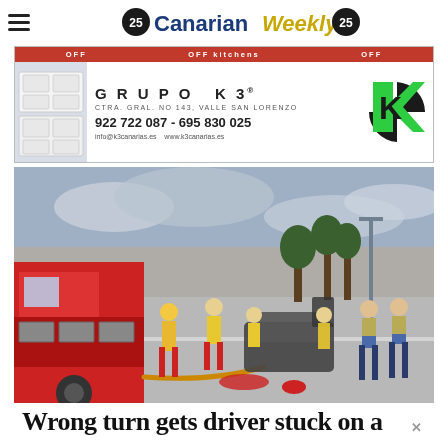Canarian Weekly (25th anniversary logo)
[Figure (photo): Advertisement for Grupo K3 kitchen showroom. Red top strip with sale text. Kitchen image on left. Text: GRUPO K3, CTRA. GRAL. NO 143, VALLE SAN LORENZO, 922 722 087 - 695 830 025, info@k3canarias.es www.k3canarias.es. Green and black K3 logo on right.]
[Figure (photo): Emergency scene on a road. A red fire truck on the left, firefighters and paramedics in yellow high-visibility vests attending to an incident. A person lying on the ground being treated. Police officers standing on the right. Street lights and trees visible in background under cloudy sky at dusk.]
Wrong turn gets driver stuck on a